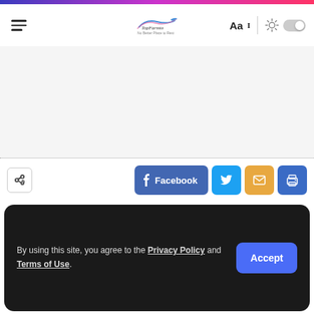Navigation header with hamburger menu, Top Farmto logo, Aa font control, brightness toggle
[Figure (screenshot): Main white content area (blank/empty)]
Share icons row with Facebook, Twitter, Email, Print buttons
By using this site, you agree to the Privacy Policy and Terms of Use.